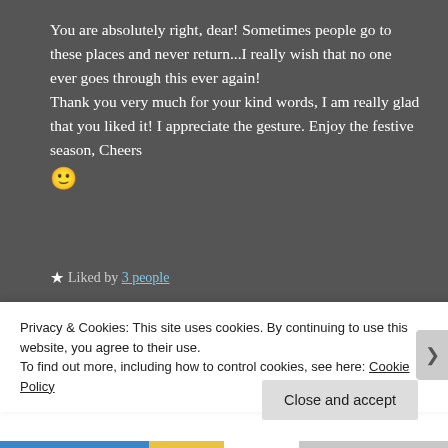You are absolutely right, dear! Sometimes people go to these places and never return...I really wish that no one ever goes through this ever again!
Thank you very much for your kind words, I am really glad that you liked it! I appreciate the gesture. Enjoy the festive season, Cheers 🙂
★ Liked by 3 people
Privacy & Cookies: This site uses cookies. By continuing to use this website, you agree to their use.
To find out more, including how to control cookies, see here: Cookie Policy
Close and accept